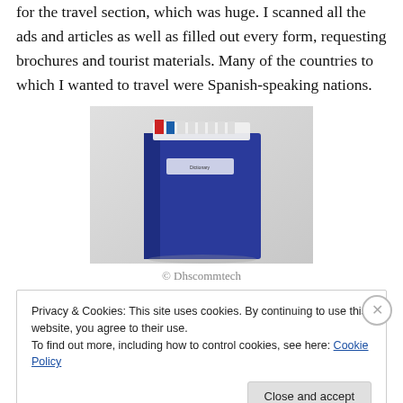for the travel section, which was huge. I scanned all the ads and articles as well as filled out every form, requesting brochures and tourist materials. Many of the countries to which I wanted to travel were Spanish-speaking nations.
[Figure (photo): A blue hardcover binder/book standing upright with tabbed dividers visible at the top, photographed against a light gray background.]
© Dhscommtech
Privacy & Cookies: This site uses cookies. By continuing to use this website, you agree to their use.
To find out more, including how to control cookies, see here: Cookie Policy
Close and accept